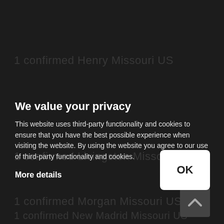1 confirmed Henry Missouri US
1 confirmed Livingston Missouri US
1 confirmed Morgan Missouri US
1 confirmed New Madrid Missouri US
We value your privacy
This website uses third-party functionality and cookies to ensure that you have the best possible experience when visiting the website. By using the website you agree to our use of third-party functionality and cookies.
More details